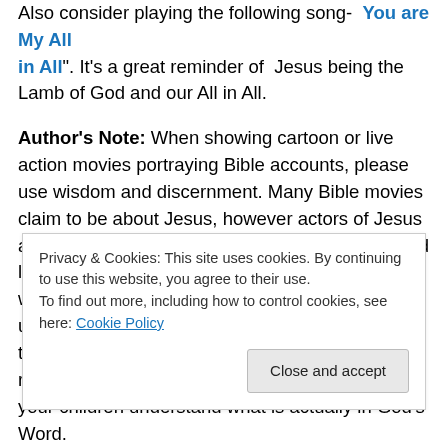Also consider playing the following song- "You are My All in All". It's a great reminder of Jesus being the Lamb of God and our All in All.
Author's Note: When showing cartoon or live action movies portraying Bible accounts, please use wisdom and discernment. Many Bible movies claim to be about Jesus, however actors of Jesus are not Jesus. We do not know what Jesus looked like, plus He no longer looks like He did while He was here. We definitely don't want to unintentionally put a false image in place of the true Jesus revealed to us by His Holy Spirit as we read His...
Privacy & Cookies: This site uses cookies. By continuing to use this website, you agree to their use. To find out more, including how to control cookies, see here: Cookie Policy
your children understand what is actually in God's Word.